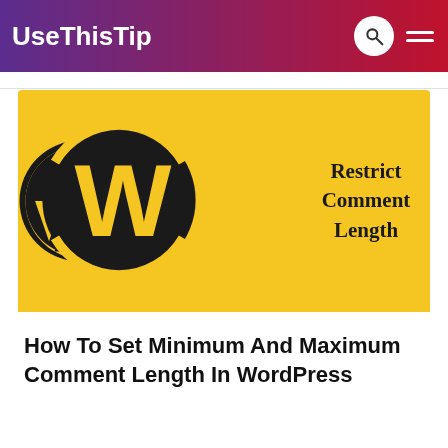UseThisTip
[Figure (logo): Yellow banner with WordPress logo (black W in circle) on left and text 'Restrict Comment Length' on right]
How To Set Minimum And Maximum Comment Length In WordPress